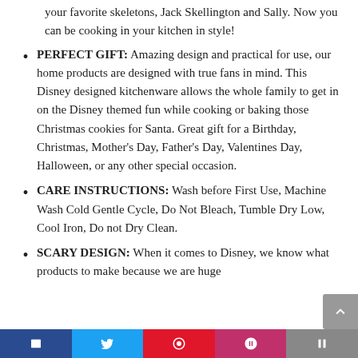your favorite skeletons, Jack Skellington and Sally. Now you can be cooking in your kitchen in style!
PERFECT GIFT: Amazing design and practical for use, our home products are designed with true fans in mind. This Disney designed kitchenware allows the whole family to get in on the Disney themed fun while cooking or baking those Christmas cookies for Santa. Great gift for a Birthday, Christmas, Mother's Day, Father's Day, Valentines Day, Halloween, or any other special occasion.
CARE INSTRUCTIONS: Wash before First Use, Machine Wash Cold Gentle Cycle, Do Not Bleach, Tumble Dry Low, Cool Iron, Do not Dry Clean.
SCARY DESIGN: When it comes to Disney, we know what products to make because we are huge